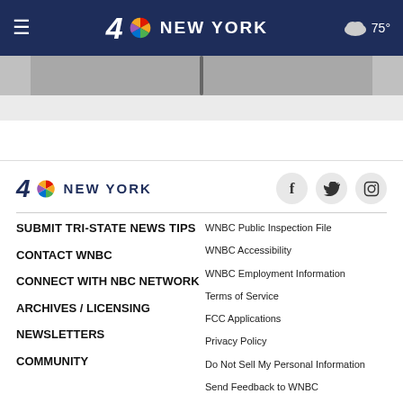≡  4 NBC NEW YORK  ☁ 75°
[Figure (photo): Partial image of a person visible at top of page]
[Figure (logo): NBC 4 New York logo with peacock icon]
SUBMIT TRI-STATE NEWS TIPS
CONTACT WNBC
CONNECT WITH NBC NETWORK
ARCHIVES / LICENSING
NEWSLETTERS
COMMUNITY
WNBC Public Inspection File
WNBC Accessibility
WNBC Employment Information
Terms of Service
FCC Applications
Privacy Policy
Do Not Sell My Personal Information
Send Feedback to WNBC